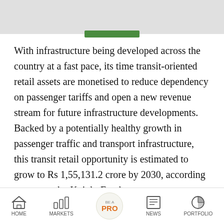[Figure (other): Top banner with gray background and a green bar indicator below it]
With infrastructure being developed across the country at a fast pace, its time transit-oriented retail assets are monetised to reduce dependency on passenger tariffs and open a new revenue stream for future infrastructure developments. Backed by a potentially healthy growth in passenger traffic and transport infrastructure, this transit retail opportunity is estimated to grow to Rs 1,55,131.2 crore by 2030, according to a report by Knight Frank.
The large retail potential translates into lease
HOME  MARKETS  BE A PRO  NEWS  PORTFOLIO